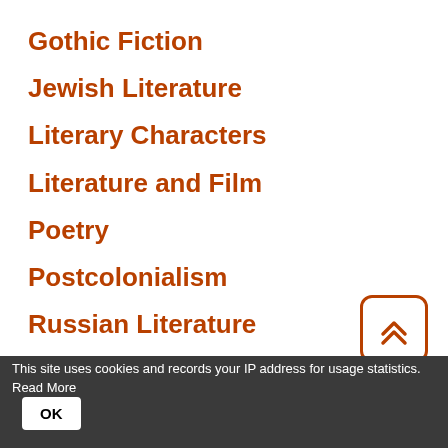Gothic Fiction
Jewish Literature
Literary Characters
Literature and Film
Poetry
Postcolonialism
Russian Literature
Science Fiction
Writers & Writing
[Figure (other): Back to top button with double chevron up arrow, orange border, rounded corners]
This site uses cookies and records your IP address for usage statistics. Read More
OK